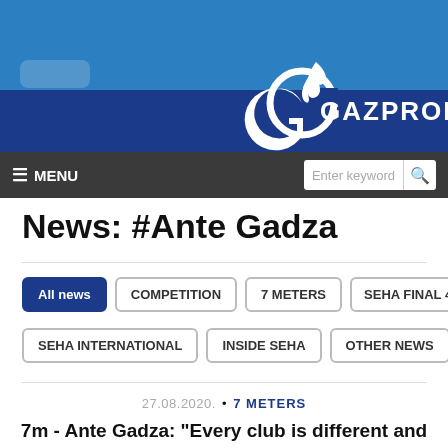[Figure (logo): Gazprom logo with flame icon and GAZPROM text in white on blue background]
≡ MENU | Enter keyword [search]
News: #Ante Gadza
All news
COMPETITION
7 METERS
SEHA FINAL 4
SEHA INTERNATIONAL
INSIDE SEHA
OTHER NEWS
27.08.2020. • 7 METERS
7m - Ante Gadza: "Every club is different and